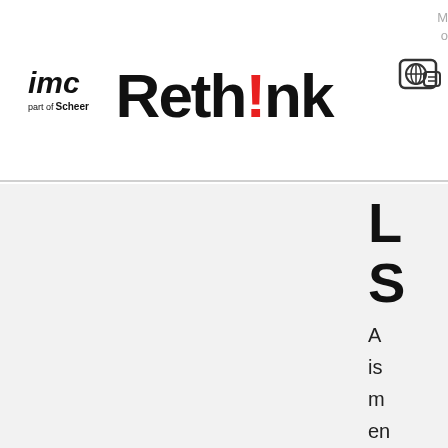[Figure (logo): imc part of Scheer logo in top left]
Reth!nk
[Figure (logo): Globe/chat icon in top right navigation area]
M
o
L
S
A is m en m co co
L
A